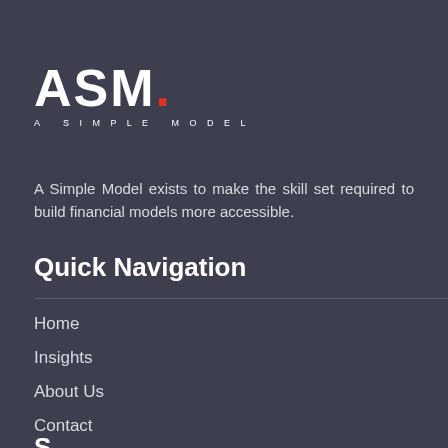[Figure (logo): ASM. A SIMPLE MODEL logo — white bold letters 'ASM.' with a red dot, and tagline 'A SIMPLE MODEL' below in small spaced caps]
A Simple Model exists to make the skill set required to build financial models more accessible.
Quick Navigation
Home
Insights
About Us
Contact
Services